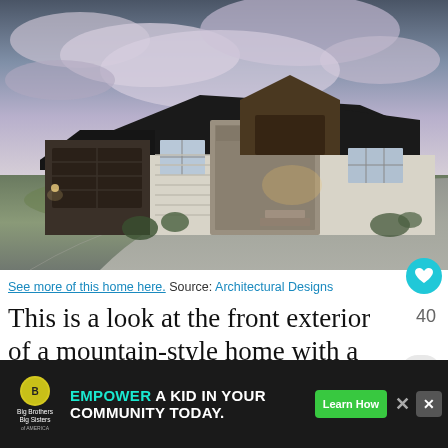[Figure (photo): Front exterior of a modern mountain-style house with dark roof, stone and board-and-batten siding, large windows, attached garage, curved concrete driveway, grass lawn, at dusk with dramatic cloudy sky]
See more of this home here. Source: Architectural Designs
This is a look at the front exterior of a mountain-style home with a large concrete driveway, a grass lawn, and pebbled planters on...
[Figure (other): Advertisement banner: Big Brothers Big Sisters logo with text 'EMPOWER A KID IN YOUR COMMUNITY TODAY.' and a 'Learn How' green button]